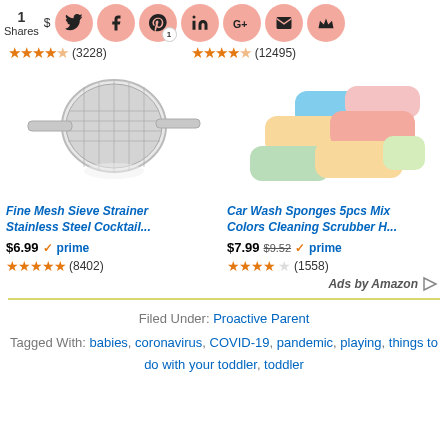[Figure (screenshot): Social share buttons row with 1 share count, Twitter, Facebook, Pinterest (with badge 1), LinkedIn, Google+, email, and crown icons]
(3228)
(12495)
[Figure (photo): Fine Mesh Sieve Strainer Stainless Steel Cocktail strainer product photo]
[Figure (photo): Car Wash Sponges 5pcs Mix Colors Cleaning Scrubber product photo - colorful sponges stacked]
Fine Mesh Sieve Strainer Stainless Steel Cocktail... $6.99 prime (8402)
Car Wash Sponges 5pcs Mix Colors Cleaning Scrubber H... $7.99 $9.52 prime (1558)
Ads by Amazon
Filed Under: Proactive Parent
Tagged With: babies, coronavirus, COVID-19, pandemic, playing, things to do with your toddler, toddler